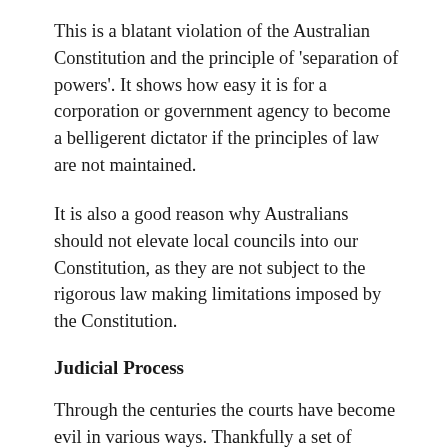This is a blatant violation of the Australian Constitution and the principle of 'separation of powers'. It shows how easy it is for a corporation or government agency to become a belligerent dictator if the principles of law are not maintained.
It is also a good reason why Australians should not elevate local councils into our Constitution, as they are not subject to the rigorous law making limitations imposed by the Constitution.
Judicial Process
Through the centuries the courts have become evil in various ways. Thankfully a set of principles has been distilled over time to define correct judicial process.